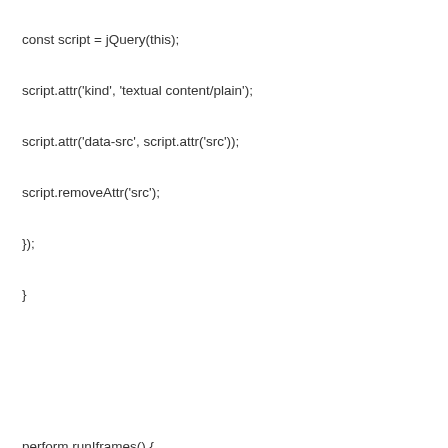const script = jQuery(this);
script.attr('kind', 'textual content/plain');
script.attr('data-src', script.attr('src'));
script.removeAttr('src');
});
}

perform runIframes() {
const iframes = jQuery('iframe[data-src]');
jQuery.every(iframes, perform() {
const iframe = jQuery(this);
iframe.attr('src', iframe.attr('data-src'));
iframe.removeAttr('title');
iframe.removeAttr('data-src');
});
}

perform runScripts() {